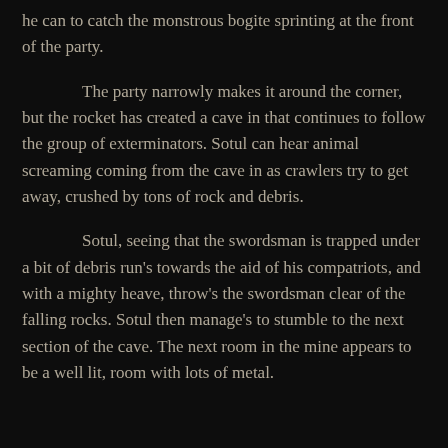he can to catch the monstrous bogite sprinting at the front of the party.
The party narrowly makes it around the corner, but the rocket has created a cave in that continues to follow the group of exterminators. Sotul can hear animal screaming coming from the cave in as crawlers try to get away, crushed by tons of rock and debris.
Sotul, seeing that the swordsman is trapped under a bit of debris run's towards the aid of his compatriots, and with a mighty heave, throw's the swordsman clear of the falling rocks. Sotul then manage's to stumble to the next section of the cave. The next room in the mine appears to be a well lit, room with lots of metal.